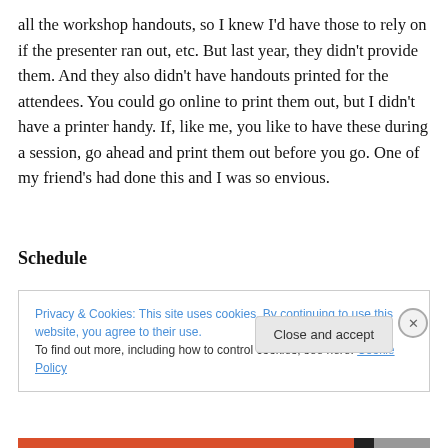all the workshop handouts, so I knew I'd have those to rely on if the presenter ran out, etc. But last year, they didn't provide them. And they also didn't have handouts printed for the attendees. You could go online to print them out, but I didn't have a printer handy. If, like me, you like to have these during a session, go ahead and print them out before you go. One of my friend's had done this and I was so envious.
Schedule
Privacy & Cookies: This site uses cookies. By continuing to use this website, you agree to their use.
To find out more, including how to control cookies, see here: Cookie Policy